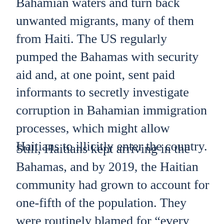Bahamian waters and turn back unwanted migrants, many of them from Haiti. The US regularly pumped the Bahamas with security aid and, at one point, sent paid informants to secretly investigate corruption in Bahamian immigration processes, which might allow Haitians to illicitly enter the country.
Still, Haitians kept arriving in the Bahamas, and by 2019, the Haitian community had grown to account for one-fifth of the population. They were routinely blamed for “every social and medical ill imaginable,” a study funded by the International Organization for Migration reported. On Abaco, communities refused to allow Haitians to settle in their neighborhoods,